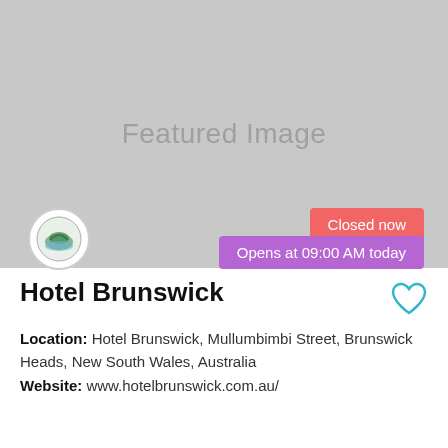[Figure (photo): Featured image placeholder — grey rectangle with 'Featured Image' watermark text. A circular logo badge appears in the lower-left corner. A red 'Closed now' badge and a purple 'Opens at 09:00 AM today' badge appear in the lower-right corner.]
Hotel Brunswick
Location: Hotel Brunswick, Mullumbimbi Street, Brunswick Heads, New South Wales, Australia
Website: www.hotelbrunswick.com.au/